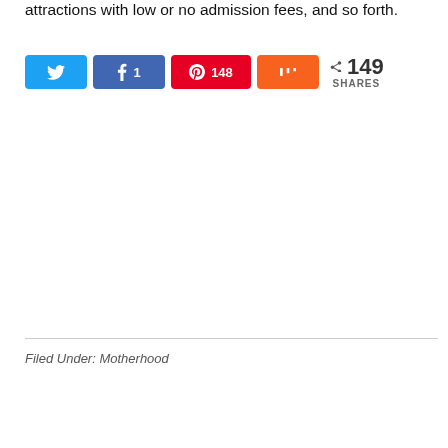attractions with low or no admission fees, and so forth.
[Figure (infographic): Social share bar with Twitter, Facebook (1 share), Pinterest (148 shares), Mix buttons, and total 149 SHARES count]
Filed Under: Motherhood